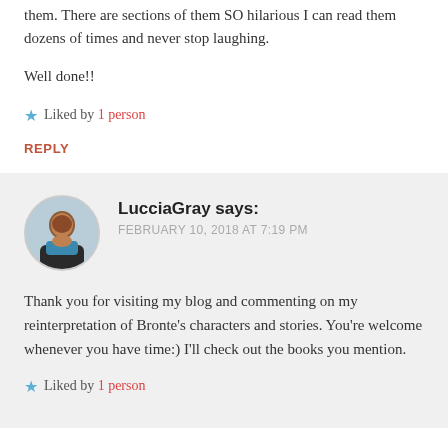them. There are sections of them SO hilarious I can read them dozens of times and never stop laughing.
Well done!!
★ Liked by 1 person
REPLY
LucciaGray says:
FEBRUARY 10, 2018 AT 7:19 PM
Thank you for visiting my blog and commenting on my reinterpretation of Bronte's characters and stories. You're welcome whenever you have time:) I'll check out the books you mention.
★ Liked by 1 person